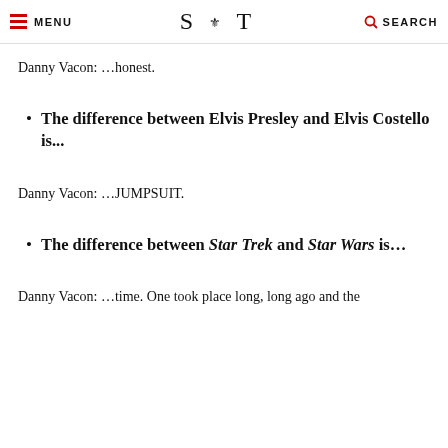MENU  S·T  SEARCH
Danny Vacon: ...honest.
The difference between Elvis Presley and Elvis Costello is...
Danny Vacon: ...JUMPSUIT.
The difference between Star Trek and Star Wars is...
Danny Vacon: ...time. One took place long, long ago and the